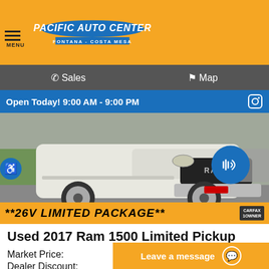Pacific Auto Center - Fontana - Costa Mesa
Sales  Map
Open Today! 9:00 AM - 9:00 PM
[Figure (photo): Front view of a white 2017 Ram 1500 Limited pickup truck in a parking lot, with a blue audio icon overlay and orange banner reading **26V LIMITED PACKAGE**]
Used 2017 Ram 1500 Limited Pickup
| Item | Price |
| --- | --- |
| Market Price: | $45,994 |
| Dealer Discount: | -$5,999 |
| Internet Special: | $39,995 |
Prices are guaranteed for 24 hours and are subject to change, please call the
Leave a message